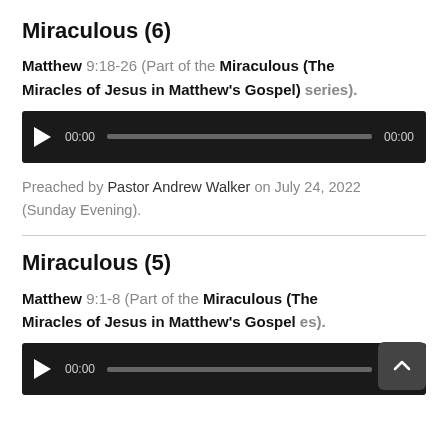Miraculous (6)
Matthew 9:18-26 (Part of the Miraculous (The Miracles of Jesus in Matthew's Gospel) series).
[Figure (other): Audio player widget showing play button, timestamp 00:00, progress bar, and end time 00:00 on dark background]
Preached by Pastor Andrew Walker on July 24, 2022 (Sunday Evening).
Miraculous (5)
Matthew 9:1-8 (Part of the Miraculous (The Miracles of Jesus in Matthew's Gospel) series).
[Figure (other): Audio player widget showing play button, timestamp 00:00, progress bar, and end time 00:00 on dark background]